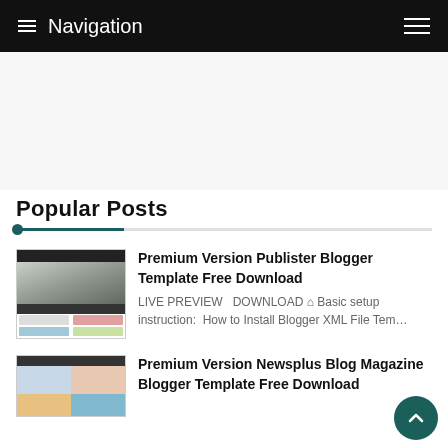≡ Navigation
[Figure (screenshot): Advertisement / blank white area placeholder]
Popular Posts
[Figure (screenshot): Thumbnail image of Publister Blogger Template showing a blog layout with dark header and article grid]
Premium Version Publister Blogger Template Free Download
LIVE PREVIEW   DOWNLOAD ⌂ Basic setup instruction:  How to Install Blogger XML File Tem…
[Figure (screenshot): Thumbnail image of Newsplus Blog Magazine Blogger Template showing colorful featured image sections]
Premium Version Newsplus Blog Magazine Blogger Template Free Download